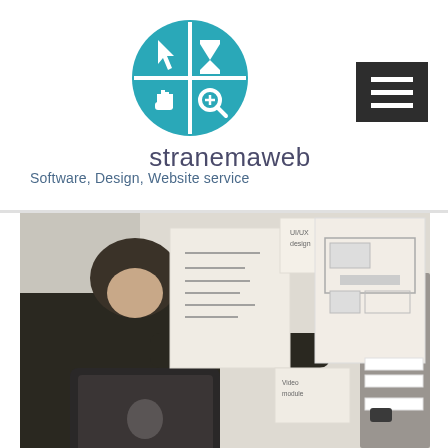[Figure (logo): stranemaweb logo: a circular pixelated icon divided into four quadrants, each containing a white icon (cursor arrow, hourglass, hand pointer, magnifying glass) on a teal/blue background]
stranemaweb
Software, Design, Website service
[Figure (other): Dark gray hamburger menu button (three horizontal white bars) in the top right corner]
[Figure (photo): Photo of two people working at a whiteboard covered with UX/UI wireframe sketches on paper. One person with curly hair is writing with a green marker while holding a laptop. Another person is visible on the right side. The whiteboard has various interface wireframes and layout sketches pinned to it.]